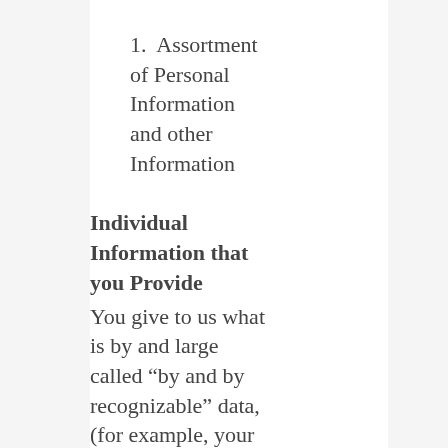1. Assortment of Personal Information and other Information
Individual Information that you Provide
You give to us what is by and large called “by and by recognizable” data, (for example, your email address,